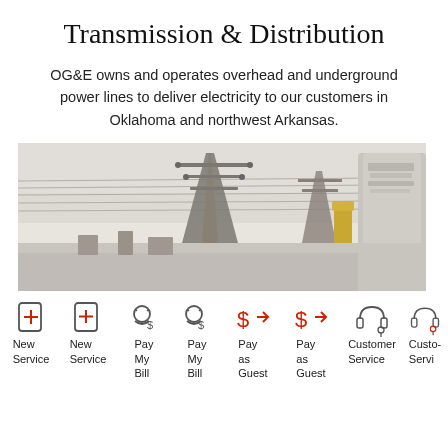Transmission & Distribution
OG&E owns and operates overhead and underground power lines to deliver electricity to our customers in Oklahoma and northwest Arkansas.
[Figure (photo): Industrial power transmission facility with power lines, transmission towers, and large cylindrical industrial structures against a pale sky.]
[Figure (infographic): Navigation icon bar with icons for: New Service, New Service, Pay My Bill, Pay My Bill, Pay as Guest, Pay as Guest, Customer Service, Customer Service (partially visible)]